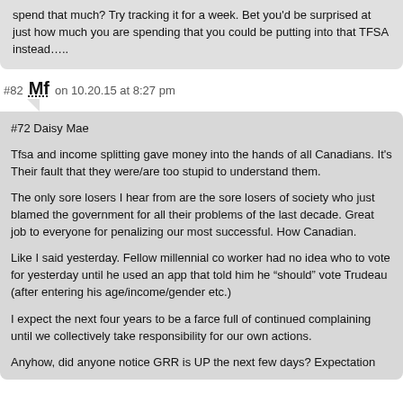spend that much? Try tracking it for a week. Bet you'd be surprised at just how much you are spending that you could be putting into that TFSA instead…..
#82 Mf on 10.20.15 at 8:27 pm
#72 Daisy Mae

Tfsa and income splitting gave money into the hands of all Canadians. It's Their fault that they were/are too stupid to understand them.

The only sore losers I hear from are the sore losers of society who just blamed the government for all their problems of the last decade. Great job to everyone for penalizing our most successful. How Canadian.

Like I said yesterday. Fellow millennial co worker had no idea who to vote for yesterday until he used an app that told him he “should” vote Trudeau (after entering his age/income/gender etc.)

I expect the next four years to be a farce full of continued complaining until we collectively take responsibility for our own actions.

Anyhow, did anyone notice GRR is UP the next few days? Expectation